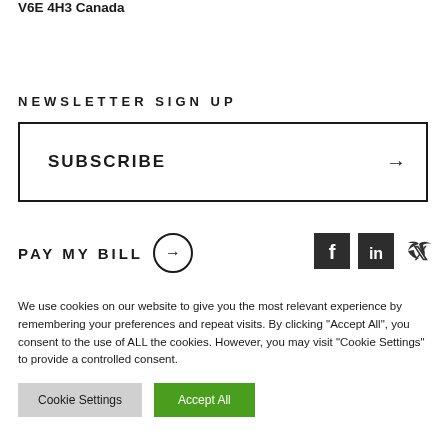V6E 4H3 Canada
NEWSLETTER SIGN UP
SUBSCRIBE →
PAY MY BILL →
We use cookies on our website to give you the most relevant experience by remembering your preferences and repeat visits. By clicking "Accept All", you consent to the use of ALL the cookies. However, you may visit "Cookie Settings" to provide a controlled consent.
Cookie Settings | Accept All